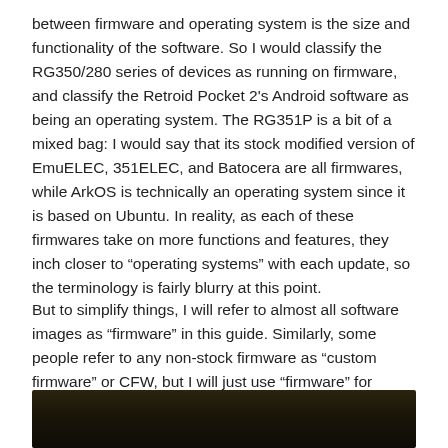between firmware and operating system is the size and functionality of the software. So I would classify the RG350/280 series of devices as running on firmware, and classify the Retroid Pocket 2's Android software as being an operating system. The RG351P is a bit of a mixed bag: I would say that its stock modified version of EmuELEC, 351ELEC, and Batocera are all firmwares, while ArkOS is technically an operating system since it is based on Ubuntu. In reality, as each of these firmwares take on more functions and features, they inch closer to “operating systems” with each update, so the terminology is fairly blurry at this point.
But to simplify things, I will refer to almost all software images as “firmware” in this guide. Similarly, some people refer to any non-stock firmware as “custom firmware” or CFW, but I will just use “firmware” for everything.
[Figure (photo): Dark/black background image, partially visible at the bottom of the page]